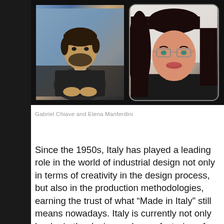[Figure (photo): Two people in a video call screenshot: a man with dark beard wearing a blazer on the left, and a woman with long dark hair and glasses on the right against a white background.]
Gabriel Chiave and Elena Manferdini
Since the 1950s, Italy has played a leading role in the world of industrial design not only in terms of creativity in the design process, but also in the production methodologies, earning the trust of what “Made in Italy” still means nowadays. Italy is currently not only leader in the design and manufacturing of